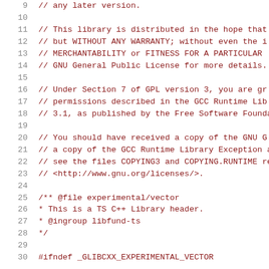Source code listing lines 9-30, showing GPL license header and file documentation comment for experimental/vector
9  // any later version.
10
11  // This library is distributed in the hope that
12  // but WITHOUT ANY WARRANTY; without even the i
13  // MERCHANTABILITY or FITNESS FOR A PARTICULAR
14  // GNU General Public License for more details.
15
16  // Under Section 7 of GPL version 3, you are gr
17  // permissions described in the GCC Runtime Lib
18  // 3.1, as published by the Free Software Founda
19
20  // You should have received a copy of the GNU G
21  // a copy of the GCC Runtime Library Exception a
22  // see the files COPYING3 and COPYING.RUNTIME re
23  // <http://www.gnu.org/licenses/>.
24
25  /** @file experimental/vector
26   *  This is a TS C++ Library header.
27   *  @ingroup libfund-ts
28   */
29
30  #ifndef _GLIBCXX_EXPERIMENTAL_VECTOR